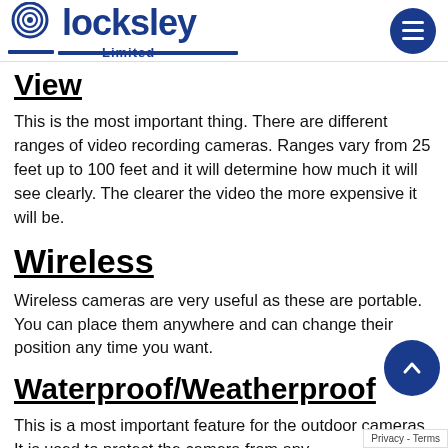Locksley Limited
View
This is the most important thing. There are different ranges of video recording cameras. Ranges vary from 25 feet up to 100 feet and it will determine how much it will see clearly. The clearer the video the more expensive it will be.
Wireless
Wireless cameras are very useful as these are portable. You can place them anywhere and can change their position any time you want.
Waterproof/Weatherproof
This is a most important feature for the outdoor cameras. It is used to protect the camera from any weather changes.